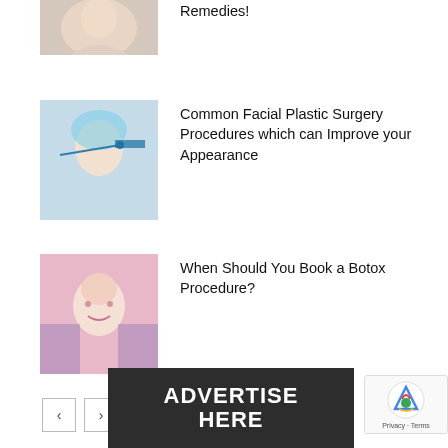[Figure (photo): Partial view of a person's neck/shoulder area - top article thumbnail (cropped)]
Remedies!
[Figure (photo): Medical professional drawing facial surgery lines on a woman's face]
Common Facial Plastic Surgery Procedures which can Improve your Appearance
[Figure (photo): Smiling woman receiving botox injections on a pink background]
When Should You Book a Botox Procedure?
[Figure (infographic): Dark banner reading ADVERTISE HERE]
[Figure (logo): Google reCAPTCHA badge with Privacy and Terms links]